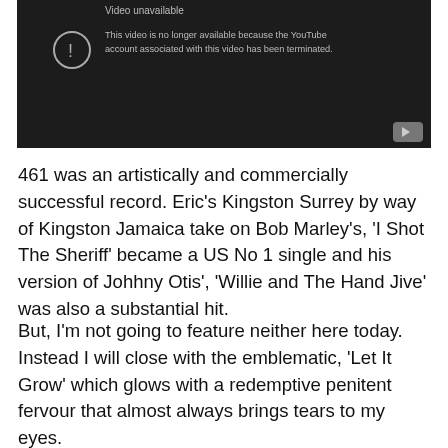[Figure (screenshot): YouTube 'Video unavailable' error screen with dark background. Text reads: 'Video unavailable — This video is no longer available because the YouTube account associated with this video has been terminated.' YouTube play button icon visible in bottom right corner.]
461 was an artistically and commercially successful record. Eric's Kingston Surrey by way of Kingston Jamaica take on Bob Marley's, 'I Shot The Sheriff' became a US No 1 single and his version of Johhny Otis', 'Willie and The Hand Jive' was also a substantial hit.
But, I'm not going to feature neither here today. Instead I will close with the emblematic, 'Let It Grow' which glows with a redemptive penitent fervour that almost always brings tears to my eyes.